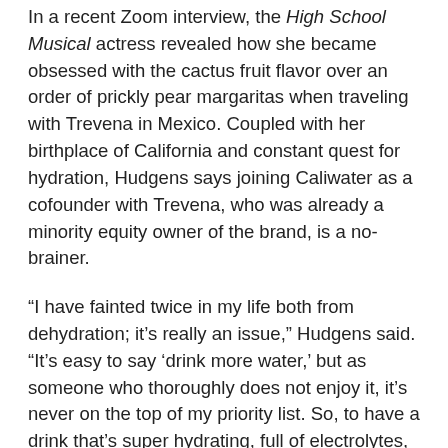In a recent Zoom interview, the High School Musical actress revealed how she became obsessed with the cactus fruit flavor over an order of prickly pear margaritas when traveling with Trevena in Mexico. Coupled with her birthplace of California and constant quest for hydration, Hudgens says joining Caliwater as a cofounder with Trevena, who was already a minority equity owner of the brand, is a no-brainer.
“I have fainted twice in my life both from dehydration; it’s really an issue,” Hudgens said. “It’s easy to say ‘drink more water,’ but as someone who thoroughly does not enjoy it, it’s never on the top of my priority list. So, to have a drink that’s super hydrating, full of electrolytes, and can give me everything I would need out of water is amazing.”
Hudgens added: “This is a product that I want to share with